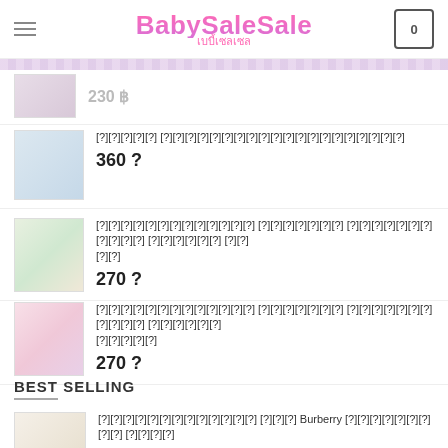BabySaleSale / เบบี้เซลเซล
230 ฿
[Thai product name] 360 ฿
[Thai product name] 270 ฿
[Thai product name] 270 ฿
BEST SELLING
[Thai product name] Burberry [Thai text] + [Thai text] (2[Thai]) 370 ฿